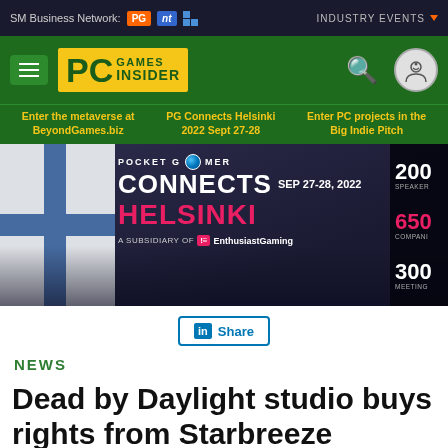SM Business Network: PG | NT | [grid icon] | INDUSTRY EVENTS
[Figure (logo): PC Games Insider logo with hamburger menu, search and user icons on green background]
Enter the metaverse at BeyondGames.biz | PG Connects Helsinki 2022 Sept 27-28 | Enter PC projects in the Big Indie Pitch
[Figure (infographic): Pocket Gamer Connects Helsinki banner ad, SEP 27-28 2022, A subsidiary of EnthusiastGaming, 200 SPEAKERS, 650 COMPANIES, 3000 MEETINGS]
[Figure (other): LinkedIn Share button]
NEWS
Dead by Daylight studio buys rights from Starbreeze